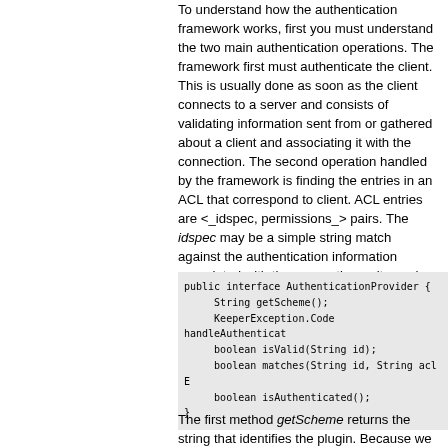To understand how the authentication framework works, first you must understand the two main authentication operations. The framework first must authenticate the client. This is usually done as soon as the client connects to a server and consists of validating information sent from or gathered about a client and associating it with the connection. The second operation handled by the framework is finding the entries in an ACL that correspond to client. ACL entries are <_idspec, permissions_> pairs. The idspec may be a simple string match against the authentication information associated with the connection or it may be a expression that is evaluated against that information. It is up to the implementation of the authentication plugin to do the match. Here is the interface that an authentication plugin must implement:
[Figure (screenshot): Code block showing Java interface AuthenticationProvider with methods getScheme(), handleAuthenticate(), isValid(String id), matches(String id, String acleEntry), isAuthenticated()]
The first method getScheme returns the string that identifies the plugin. Because we